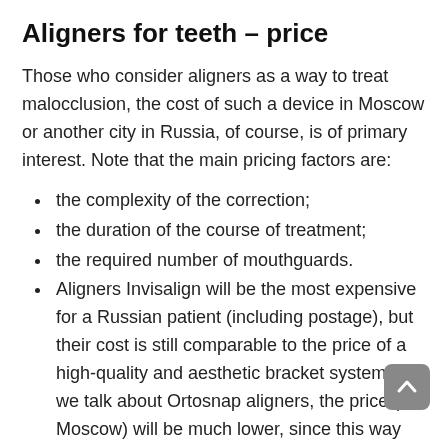Aligners for teeth – price
Those who consider aligners as a way to treat malocclusion, the cost of such a device in Moscow or another city in Russia, of course, is of primary interest. Note that the main pricing factors are:
the complexity of the correction;
the duration of the course of treatment;
the required number of mouthguards.
Aligners Invisalign will be the most expensive for a Russian patient (including postage), but their cost is still comparable to the price of a high-quality and aesthetic bracket system. If we talk about Ortosnap aligners, the price (in Moscow) will be much lower, since this way the company does not include postage in the cost.
You can get a pricing for a personalized orthodontic